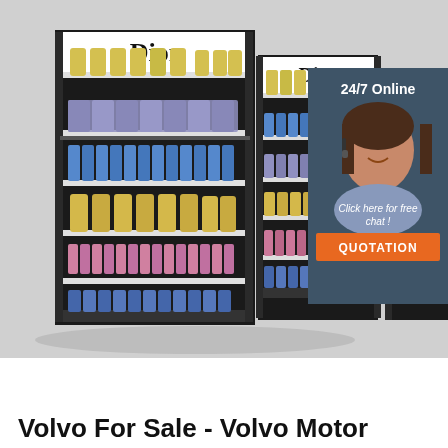[Figure (photo): Product display shelving units branded 'Dior' with multiple shelves of cosmetic/beauty products. An overlay in the top-right shows a customer service representative wearing a headset with text '24/7 Online', 'Click here for free chat!', and an orange 'QUOTATION' button.]
Volvo For Sale - Volvo Motor